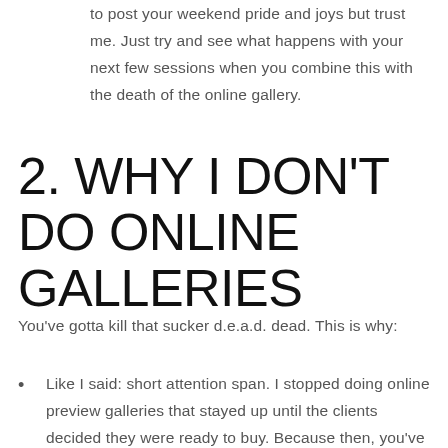to post your weekend pride and joys but trust me. Just try and see what happens with your next few sessions when you combine this with the death of the online gallery.
2. WHY I DON'T DO ONLINE GALLERIES
You've gotta kill that sucker d.e.a.d. dead. This is why:
Like I said: short attention span. I stopped doing online preview galleries that stayed up until the clients decided they were ready to buy. Because then, you've got tons of